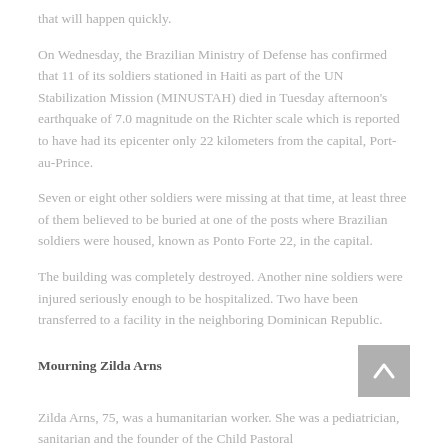that will happen quickly.
On Wednesday, the Brazilian Ministry of Defense has confirmed that 11 of its soldiers stationed in Haiti as part of the UN Stabilization Mission (MINUSTAH) died in Tuesday afternoon's earthquake of 7.0 magnitude on the Richter scale which is reported to have had its epicenter only 22 kilometers from the capital, Port-au-Prince.
Seven or eight other soldiers were missing at that time, at least three of them believed to be buried at one of the posts where Brazilian soldiers were housed, known as Ponto Forte 22, in the capital.
The building was completely destroyed. Another nine soldiers were injured seriously enough to be hospitalized. Two have been transferred to a facility in the neighboring Dominican Republic.
Mourning Zilda Arns
Zilda Arns, 75, was a humanitarian worker. She was a pediatrician, sanitarian and the founder of the Child Pastoral